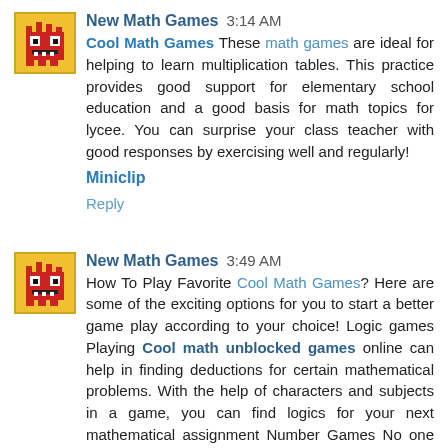[Figure (illustration): Pixel art avatar of a red monster/character on a yellow background]
New Math Games  3:14 AM
Cool Math Games These math games are ideal for helping to learn multiplication tables. This practice provides good support for elementary school education and a good basis for math topics for lycee. You can surprise your class teacher with good responses by exercising well and regularly!
Miniclip
Reply
[Figure (illustration): Pixel art avatar of a red monster/character on a yellow background]
New Math Games  3:49 AM
How To Play Favorite Cool Math Games? Here are some of the exciting options for you to start a better game play according to your choice! Logic games Playing Cool math unblocked games online can help in finding deductions for certain mathematical problems. With the help of characters and subjects in a game, you can find logics for your next mathematical assignment Number Games No one can forget number with these math playground available online. If you want to learn from your ...